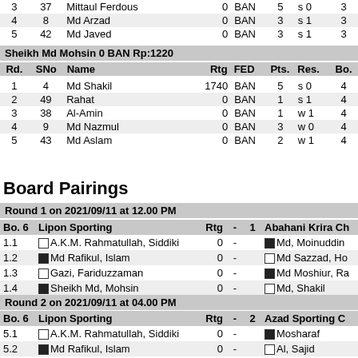| Rd. | SNo | Name | Rtg | FED | Pts. | Res. | Bo. |
| --- | --- | --- | --- | --- | --- | --- | --- |
| 3 | 37 | Mittaul Ferdous | 0 | BAN | 5 | s 0 | 3 |
| 4 | 8 | Md Arzad | 0 | BAN | 3 | s 1 | 3 |
| 5 | 42 | Md Javed | 0 | BAN | 3 | s 1 | 3 |
Sheikh Md Mohsin 0 BAN Rp:1220
| Rd. | SNo | Name | Rtg | FED | Pts. | Res. | Bo. |
| --- | --- | --- | --- | --- | --- | --- | --- |
| 1 | 4 | Md Shakil | 1740 | BAN | 5 | s 0 | 4 |
| 2 | 49 | Rahat | 0 | BAN | 1 | s 1 | 4 |
| 3 | 38 | Al-Amin | 0 | BAN | 1 | w 1 | 4 |
| 4 | 9 | Md Nazmul | 0 | BAN | 3 | w 0 | 4 |
| 5 | 43 | Md Aslam | 0 | BAN | 2 | w 1 | 4 |
Board Pairings
Round 1 on 2021/09/11 at 12.00 PM
| Bo. 6 | Lipon Sporting | Rtg | - | 1 | Abahani Krira Ch |
| --- | --- | --- | --- | --- | --- |
| 1.1 | A.K.M. Rahmatullah, Siddiki | 0 | - |  | Md, Moinuddin |
| 1.2 | Md Rafikul, Islam | 0 | - |  | Md Sazzad, Ho |
| 1.3 | Gazi, Fariduzzaman | 0 | - |  | Md Moshiur, Ra |
| 1.4 | Sheikh Md, Mohsin | 0 | - |  | Md, Shakil |
Round 2 on 2021/09/11 at 04.00 PM
| Bo. 6 | Lipon Sporting | Rtg | - | 2 | Azad Sporting C |
| --- | --- | --- | --- | --- | --- |
| 5.1 | A.K.M. Rahmatullah, Siddiki | 0 | - |  | Mosharaf |
| 5.2 | Md Rafikul, Islam | 0 | - |  | Al, Sajid |
| 5.3 | Gazi, Fariduzzaman | 0 | - |  | Yousuf |